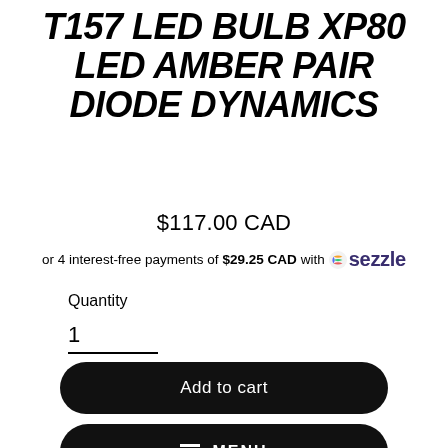T157 LED BULB XP80 LED AMBER PAIR DIODE DYNAMICS
$117.00 CAD
or 4 interest-free payments of $29.25 CAD with ⬡ sezzle
Quantity
1
Add to cart
MENU